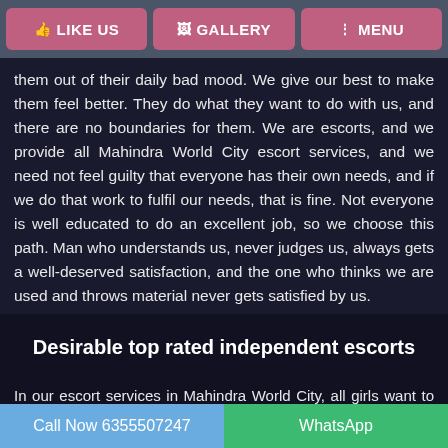LIKE US | GALLERY | MENU
them out of their daily bad mood. We give our best to make them feel better. They do what they want to do with us, and there are no boundaries for them. We are escorts, and we provide all Mahindra World City escort services, and we need not feel guilty that everyone has their own needs, and if we do that work to fulfil our needs, that is fine. Not everyone is well educated to do an excellent job, so we choose this path. Man who understands us, never judges us, always gets a well-deserved satisfaction, and the one who thinks we are used and throws material never gets satisfied by us.
Desirable top rated independent escorts
In our escort services in Mahindra World City, all girls want to be
Call Now 6355507247 | WhatsApp